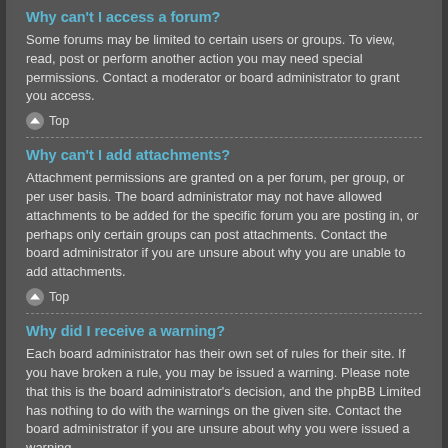Why can't I access a forum?
Some forums may be limited to certain users or groups. To view, read, post or perform another action you may need special permissions. Contact a moderator or board administrator to grant you access.
⌃ Top
Why can't I add attachments?
Attachment permissions are granted on a per forum, per group, or per user basis. The board administrator may not have allowed attachments to be added for the specific forum you are posting in, or perhaps only certain groups can post attachments. Contact the board administrator if you are unsure about why you are unable to add attachments.
⌃ Top
Why did I receive a warning?
Each board administrator has their own set of rules for their site. If you have broken a rule, you may be issued a warning. Please note that this is the board administrator's decision, and the phpBB Limited has nothing to do with the warnings on the given site. Contact the board administrator if you are unsure about why you were issued a warning.